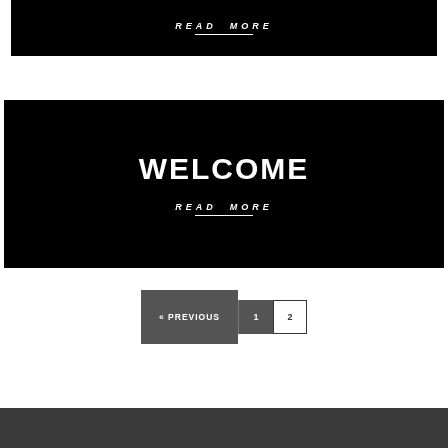[Figure (screenshot): Black banner with 'READ MORE' italic text and white underline]
[Figure (screenshot): Black banner with large bold 'WELCOME' heading and 'READ MORE' italic text with white underline below]
« PREVIOUS  1  2